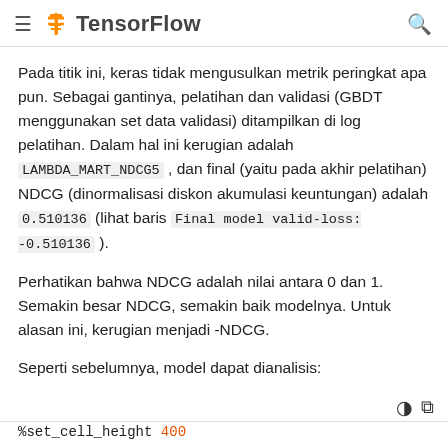TensorFlow
Pada titik ini, keras tidak mengusulkan metrik peringkat apa pun. Sebagai gantinya, pelatihan dan validasi (GBDT menggunakan set data validasi) ditampilkan di log pelatihan. Dalam hal ini kerugian adalah LAMBDA_MART_NDCG5 , dan final (yaitu pada akhir pelatihan) NDCG (dinormalisasi diskon akumulasi keuntungan) adalah 0.510136 (lihat baris Final model valid-loss: -0.510136 ).
Perhatikan bahwa NDCG adalah nilai antara 0 dan 1. Semakin besar NDCG, semakin baik modelnya. Untuk alasan ini, kerugian menjadi -NDCG.
Seperti sebelumnya, model dapat dianalisis:
%set_cell_height 400